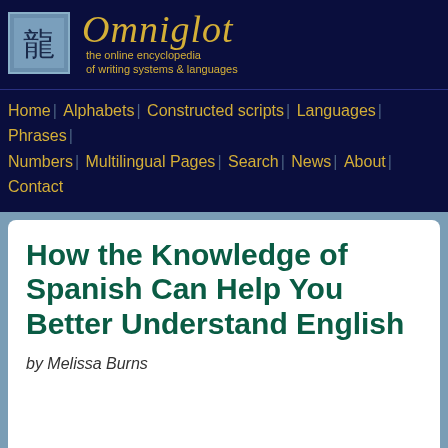Omniglot — the online encyclopedia of writing systems & languages
Home | Alphabets | Constructed scripts | Languages | Phrases | Numbers | Multilingual Pages | Search | News | About | Contact
How the Knowledge of Spanish Can Help You Better Understand English
by Melissa Burns